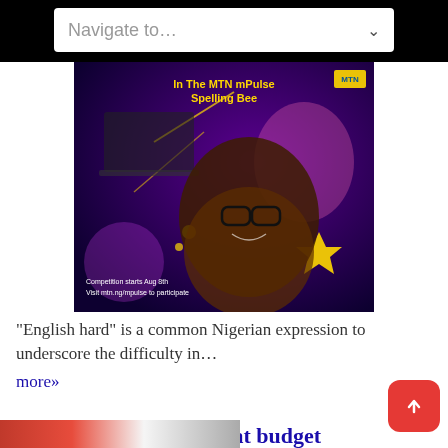Navigate to...
[Figure (photo): Advertisement for MTN mPulse Spelling Bee showing a young Nigerian girl with glasses smiling. Yellow text reads 'In The MTN mPulse Spelling Bee'. Bottom text: 'Competition starts Aug 8th' and 'Visit mtn.ng/mpulse to participate']
“English hard” is a common Nigerian expression to underscore the difficulty in... more»
Lagos Targets 95 percent budget performance by year end
August 22, 2022